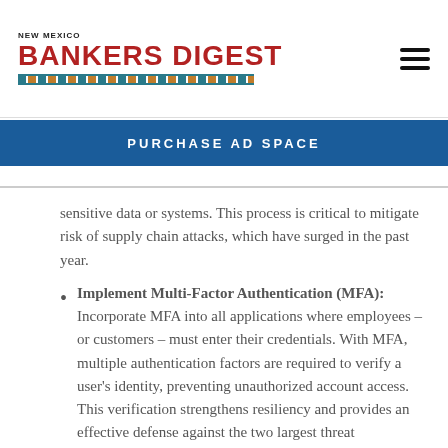NEW MEXICO BANKERS DIGEST
PURCHASE AD SPACE
sensitive data or systems. This process is critical to mitigate risk of supply chain attacks, which have surged in the past year.
Implement Multi-Factor Authentication (MFA): Incorporate MFA into all applications where employees – or customers – must enter their credentials. With MFA, multiple authentication factors are required to verify a user's identity, preventing unauthorized account access. This verification strengthens resiliency and provides an effective defense against the two largest threat